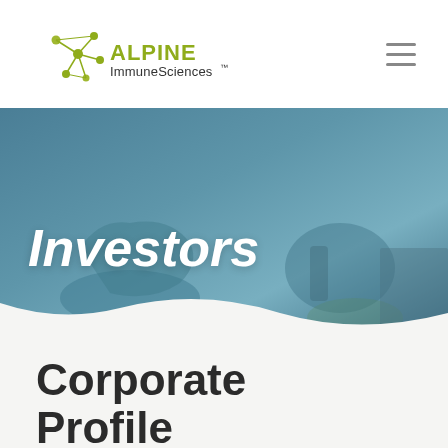[Figure (logo): Alpine Immune Sciences logo with stylized molecule icon and wordmark]
[Figure (photo): Hero banner photo of a modern office lounge with teal/blue overlay, showing chairs and seating area]
Investors
Corporate Profile